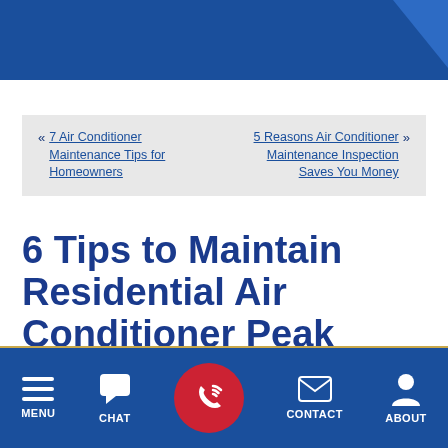« 7 Air Conditioner Maintenance Tips for Homeowners    5 Reasons Air Conditioner Maintenance Inspection Saves You Money »
6 Tips to Maintain Residential Air Conditioner Peak Performance
MENU  CHAT  [CALL]  CONTACT  ABOUT